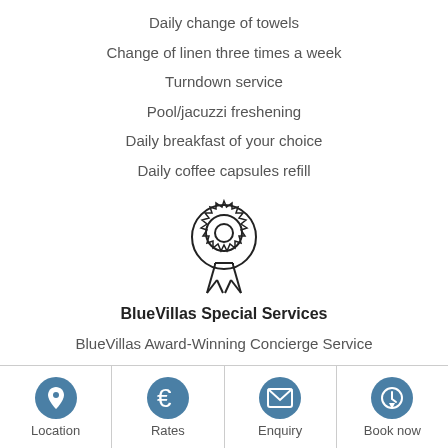Daily change of towels
Change of linen three times a week
Turndown service
Pool/jacuzzi freshening
Daily breakfast of your choice
Daily coffee capsules refill
[Figure (illustration): Award/medal ribbon icon]
BlueVillas Special Services
BlueVillas Award-Winning Concierge Service
Villa concierge contact during your stay
Check-in and Check-out service
Location | Rates | Enquiry | Book now